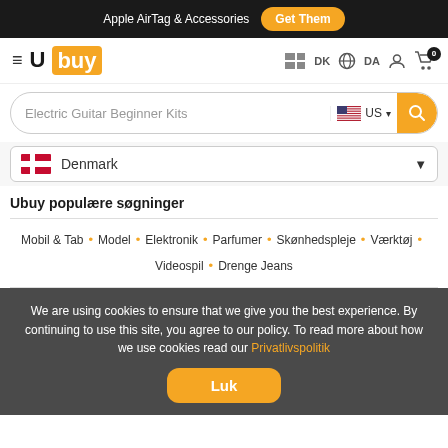Apple AirTag & Accessories  Get Them
[Figure (logo): Ubuy logo with hamburger menu, DK language selector, DA globe, user icon, cart icon with badge 0]
Electric Guitar Beginner Kits  US (search bar)
Denmark (country selector dropdown)
Ubuy populære søgninger
Mobil & Tab • Model • Elektronik • Parfumer • Skønhedspleje • Værktøj • Videospil • Drenge Jeans
We are using cookies to ensure that we give you the best experience. By continuing to use this site, you agree to our policy. To read more about how we use cookies read our Privatlivspolitik
Luk